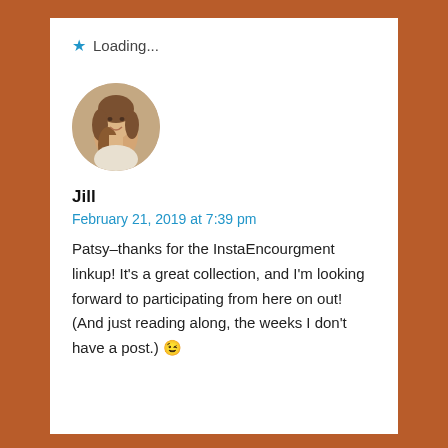⭐ Loading...
[Figure (photo): Circular avatar photo of a smiling woman with brown hair]
Jill
February 21, 2019 at 7:39 pm
Patsy–thanks for the InstaEncourgment linkup! It's a great collection, and I'm looking forward to participating from here on out! (And just reading along, the weeks I don't have a post.) 😉